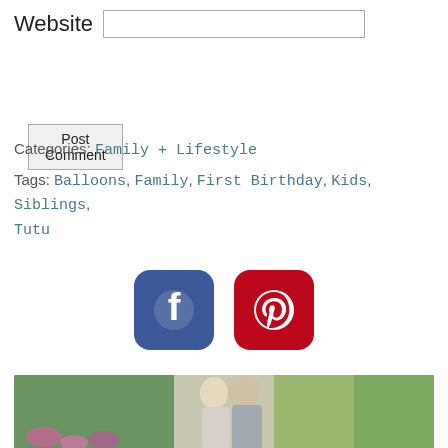Website
Post Comment
Categories: Family + Lifestyle
Tags: Balloons, Family, First Birthday, Kids, Siblings, Tutu
[Figure (logo): Facebook and Pinterest social media icons side by side]
[Figure (photo): Wedding couple standing outdoors among pink flowers and green trees]